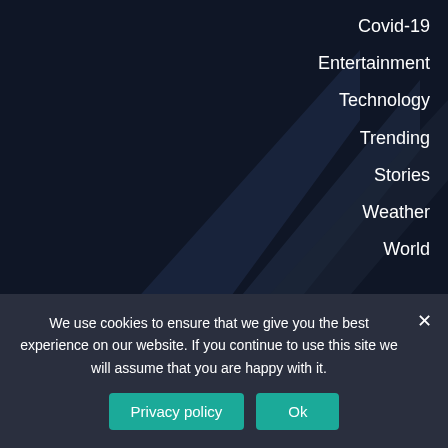Covid-19
Entertainment
Technology
Trending
Stories
Weather
World
Contact Us
washingtom dc davenport 3511, Zyz Street
We use cookies to ensure that we give you the best experience on our website. If you continue to use this site we will assume that you are happy with it.